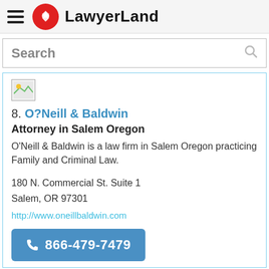LawyerLand
Search
[Figure (screenshot): Small broken image placeholder thumbnail]
8. O?Neill & Baldwin
Attorney in Salem Oregon
O'Neill & Baldwin is a law firm in Salem Oregon practicing Family and Criminal Law.
180 N. Commercial St. Suite 1
Salem, OR 97301
http://www.oneillbaldwin.com
866-479-7479